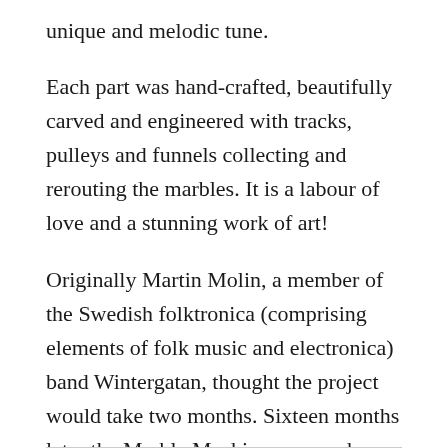unique and melodic tune.
Each part was hand-crafted, beautifully carved and engineered with tracks, pulleys and funnels collecting and rerouting the marbles. It is a labour of love and a stunning work of art!
Originally Martin Molin, a member of the Swedish folktronica (comprising elements of folk music and electronica) band Wintergatan, thought the project would take two months. Sixteen months later the Marble Machine was ready.
He had created a music box as never seen before!